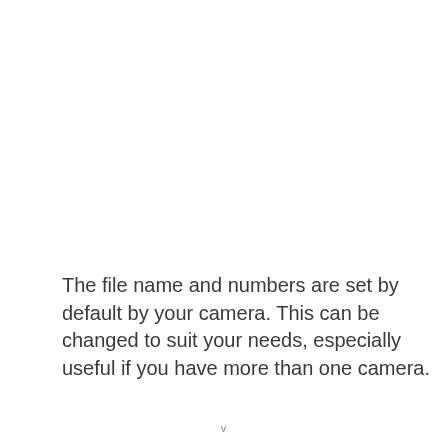The file name and numbers are set by default by your camera. This can be changed to suit your needs, especially useful if you have more than one camera.
v